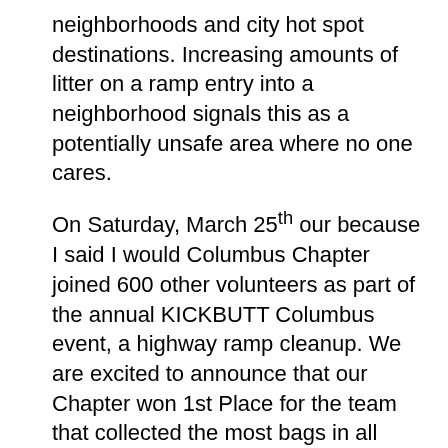neighborhoods and city hot spot destinations. Increasing amounts of litter on a ramp entry into a neighborhood signals this as a potentially unsafe area where no one cares.
On Saturday, March 25th our because I said I would Columbus Chapter joined 600 other volunteers as part of the annual KICKBUTT Columbus event, a highway ramp cleanup. We are excited to announce that our Chapter won 1st Place for the team that collected the most bags in all categories with our twenty Chapter members. Forty teams participated and our Columbus Chapter and the Leawood Gardens Neighborhood Association took the lead with cleaning up 117 bags of litter at I-70 Exit 107 Hamilton Road.
Thanks to our Columbus Chapters' participation, we were part of making this happen: